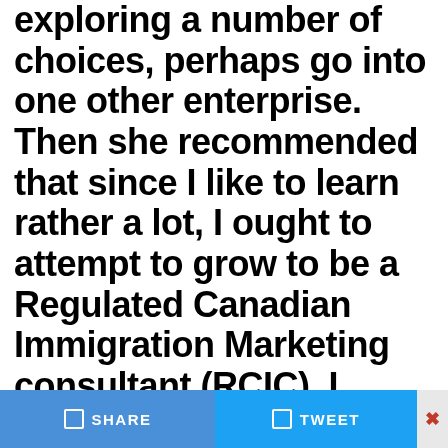exploring a number of choices, perhaps go into one other enterprise. Then she recommended that since I like to learn rather a lot, I ought to attempt to grow to be a Regulated Canadian Immigration Marketing consultant (RCIC). I initially demurred after I thought of the
SHARE   TWEET